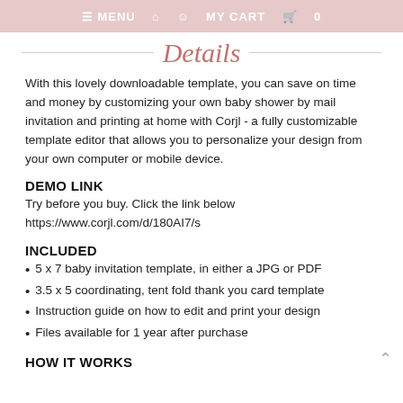≡ MENU  🏠  👤  MY CART  🛒  0
Details
With this lovely downloadable template, you can save on time and money by customizing your own baby shower by mail invitation and printing at home with Corjl - a fully customizable template editor that allows you to personalize your design from your own computer or mobile device.
DEMO LINK
Try before you buy. Click the link below
https://www.corjl.com/d/180AI7/s
INCLUDED
5 x 7 baby invitation template, in either a JPG or PDF
3.5 x 5 coordinating, tent fold thank you card template
Instruction guide on how to edit and print your design
Files available for 1 year after purchase
HOW IT WORKS